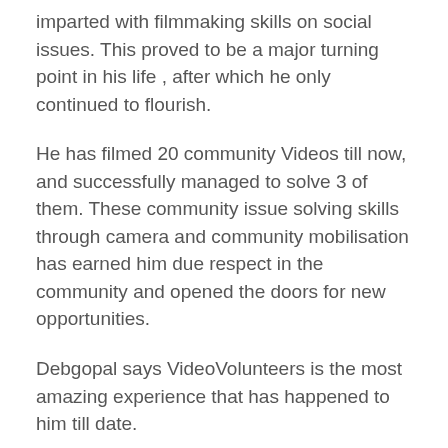imparted with filmmaking skills on social issues. This proved to be a major turning point in his life , after which he only continued to flourish.
He has filmed 20 community Videos till now, and successfully managed to solve 3 of them. These community issue solving skills through camera and community mobilisation has earned him due respect in the community and opened the doors for new opportunities.
Debgopal says VideoVolunteers is the most amazing experience that has happened to him till date.
Video by Community Correspondent, Debgopal Mondal.